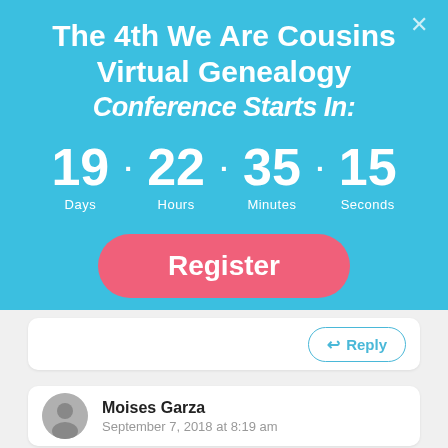The 4th We Are Cousins Virtual Genealogy Conference Starts In:
19 · 22 · 35 · 15
Days   Hours   Minutes   Seconds
Register
Reply
Moises Garza
September 7, 2018 at 8:19 am